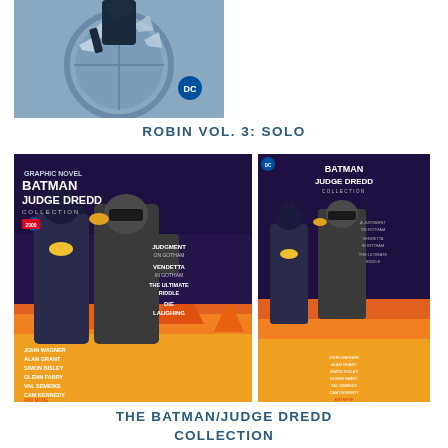[Figure (illustration): Cover image of Robin Vol. 3: Solo comic book, showing a figure with birds/shards against a geometric background with DC logo]
ROBIN VOL. 3: SOLO
[Figure (illustration): Large cover of Batman/Judge Dredd Collection graphic novel featuring Batman and Judge Dredd fighting amid flames, with author credits including John Wagner, Alan Grant, Simon Bisley, Glenn Fabry, Val Semeiks, Cam Kennedy and more. Stories: Judgment on Gotham, Vendetta in Gotham, The Ultimate Riddle, Die Laughing.]
[Figure (illustration): Smaller version of Batman/Judge Dredd Collection cover showing the same artwork at reduced size]
THE BATMAN/JUDGE DREDD COLLECTION